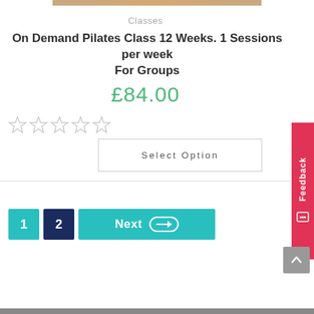[Figure (photo): Partial product image at top of page]
Classes
On Demand Pilates Class 12 Weeks. 1 Sessions per week For Groups
£84.00
[Figure (other): Five empty star rating icons]
Select Option
1  2  Next →
Feedback